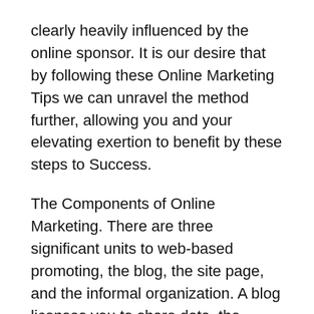clearly heavily influenced by the online sponsor. It is our desire that by following these Online Marketing Tips we can unravel the method further, allowing you and your elevating exertion to benefit by these steps to Success.
The Components of Online Marketing. There are three significant units to web-based promoting, the blog, the site page, and the informal organization. A blog licenses you to share data, the fundamental reason for the web, then again, a site grants you to advance your business. Using the Social Network to get the message out among immense amounts of online customers has also gotten key to a productive electronic exhibiting exertion. Understanding the practical use of these three portions of web promoting will uncommonly redesign your campaign, while at the same time unfathomably improving your chances for progress.